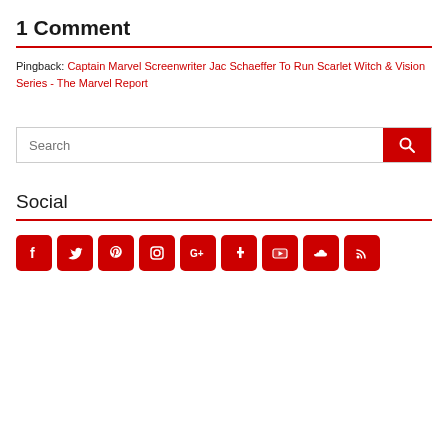1 Comment
Pingback: Captain Marvel Screenwriter Jac Schaeffer To Run Scarlet Witch & Vision Series - The Marvel Report
[Figure (other): Search input field with red search button]
Social
[Figure (infographic): Social media icons row: Facebook, Twitter, Pinterest, Instagram, Google+, Tumblr, YouTube, SoundCloud, RSS]